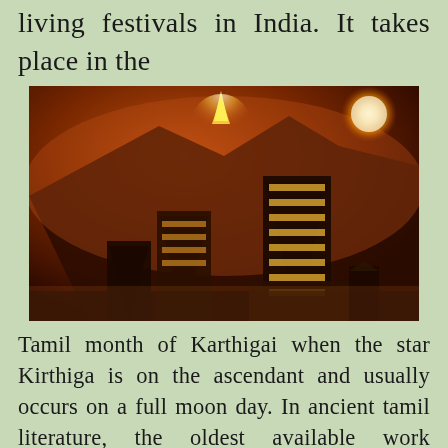living festivals in India. It takes place in the
[Figure (photo): Nighttime photograph of illuminated Hindu temple gopurams (towers) with a bright flame/beacon visible on a hilltop and a glowing orb in the sky, likely depicting the Karthigai Deepam festival at Tiruvannamalai]
Tamil month of Karthigai when the star Kirthiga is on the ascendant and usually occurs on a full moon day. In ancient tamil literature, the oldest available work Tolkappiyam which dates back to 2500 B.C. carries a marked reference to this festival. In another ancient Tamil classic, the Kalavazhi Naarpadu, dating back to the third Sangam period (around 1000